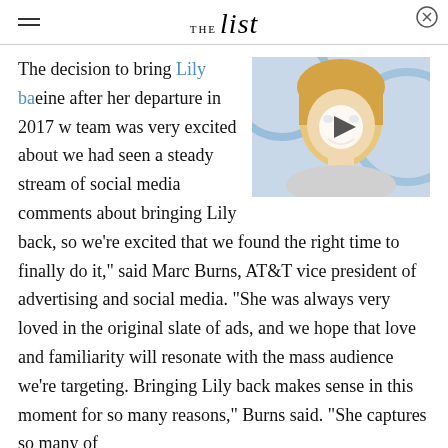THE list
[Figure (photo): Video thumbnail showing a blonde woman smiling, with a play button overlay. Shows partial circular blue design behind her.]
The decision to bring Lily back [eine] after her departure in 2017 w[as, the] team was very excited about [it. And] we had seen a steady stream of social media comments about bringing Lily back, so we're excited that we found the right time to finally do it," said Marc Burns, AT&T vice president of advertising and social media. "She was always very loved in the original slate of ads, and we hope that love and familiarity will resonate with the mass audience we're targeting. Bringing Lily back makes sense in this moment for so many reasons," Burns said. "She captures so many of